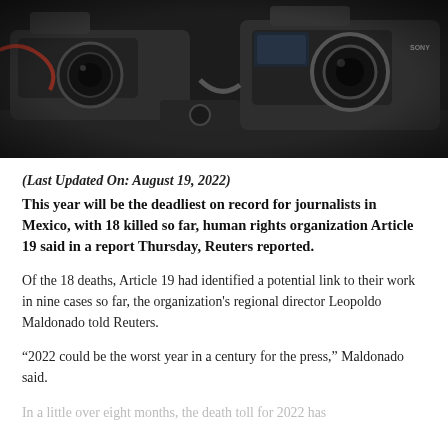[Figure (photo): Close-up photograph of professional video cameras with Sony branding, lying on a surface, dark-toned image]
(Last Updated On: August 19, 2022)
This year will be the deadliest on record for journalists in Mexico, with 18 killed so far, human rights organization Article 19 said in a report Thursday, Reuters reported.
Of the 18 deaths, Article 19 had identified a potential link to their work in nine cases so far, the organization's regional director Leopoldo Maldonado told Reuters.
“2022 could be the worst year in a century for the press,” Maldonado said.
In a little over eight months, the death toll for 2022 has